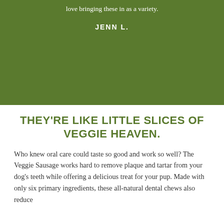love bringing these in as a variety.
JENN L.
THEY'RE LIKE LITTLE SLICES OF VEGGIE HEAVEN.
Who knew oral care could taste so good and work so well?  The Veggie Sausage works hard to remove plaque and tartar from your dog's teeth while offering a delicious treat for your pup.  Made with only six primary ingredients, these all-natural dental chews also reduce